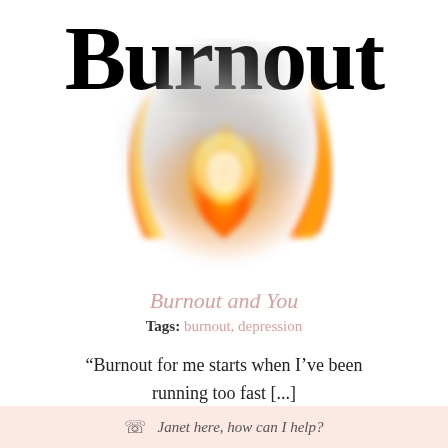Burnout
[Figure (illustration): Fire and smoke illustration overlaid on the word Burnout, showing flames with orange and yellow colors and grey smoke in the center of the title text]
Burnout and You
Tags: burnout, depression
“Burnout for me starts when I’ve been running too fast [...]
Janet here, how can I help?